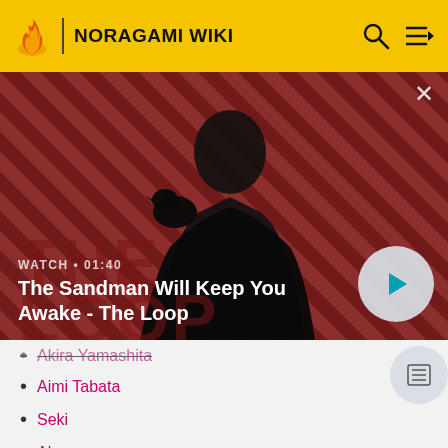NORAGAMI WIKI
[Figure (screenshot): Video thumbnail banner for 'The Sandman Will Keep You Awake - The Loop' with a dark figure and crow on a red striped background. Shows WATCH • 01:40 label and a play button.]
Akira Yamashita (partially visible, strikethrough)
Aimi Tabata
Seki
Abe
Masaomi Iki (mentioned)
Okuninushi